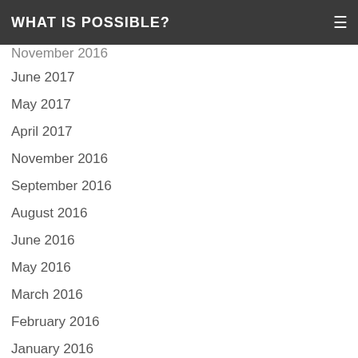WHAT IS POSSIBLE?
November 2016 (partial, cut off at top)
June 2017
May 2017
April 2017
November 2016
September 2016
August 2016
June 2016
May 2016
March 2016
February 2016
January 2016
December 2015
October 2015
September 2015
August 2015
May 2015
April 2015